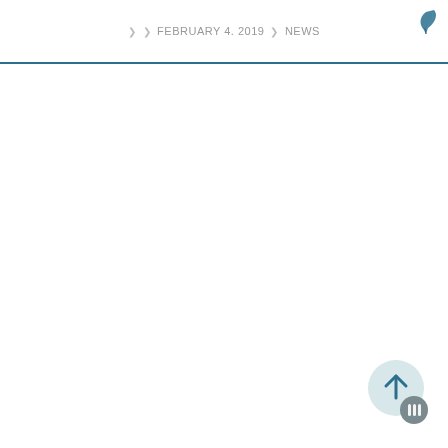❯ FEBRUARY 4. 2019 ❯ NEWS
[Figure (other): Scroll-to-top circular button with upward arrow icon, light blue-grey background, and a small dark grey pagination circle overlay]